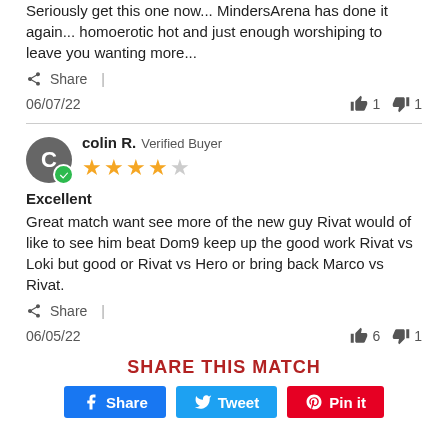Seriously get this one now... MindersArena has done it again... homoerotic hot and just enough worshiping to leave you wanting more...
Share |
06/07/22  👍 1  👎 1
colin R. Verified Buyer
4 out of 5 stars
Excellent
Great match want see more of the new guy Rivat would of like to see him beat Dom9 keep up the good work Rivat vs Loki but good or Rivat vs Hero or bring back Marco vs Rivat.
Share |
06/05/22  👍 6  👎 1
SHARE THIS MATCH
Share  Tweet  Pin it